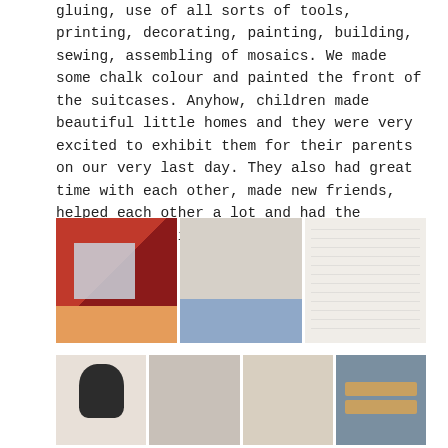gluing, use of all sorts of tools, printing, decorating, painting, building, sewing, assembling of mosaics. We made some chalk colour and painted the front of the suitcases. Anyhow, children made beautiful little homes and they were very excited to exhibit them for their parents on our very last day. They also had great time with each other, made new friends, helped each other a lot and had the weather on their side.
Good new times!
[Figure (photo): Three photos side by side: left shows fabric pieces in red and floral patterns with children's hands; center shows three children working at a blue table with craft supplies; right shows a child's hand-drawn sketch/plan.]
[Figure (photo): Four photos side by side: a girl in black polka-dot dress working on crafts; two children crouching over work; children in a room with bunting; wooden popsicle sticks arranged on a blue surface.]